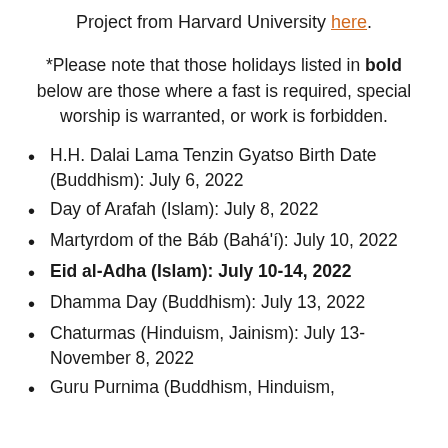Project from Harvard University here.
*Please note that those holidays listed in bold below are those where a fast is required, special worship is warranted, or work is forbidden.
H.H. Dalai Lama Tenzin Gyatso Birth Date (Buddhism): July 6, 2022
Day of Arafah (Islam): July 8, 2022
Martyrdom of the Báb (Bahá'í): July 10, 2022
Eid al-Adha (Islam): July 10-14, 2022
Dhamma Day (Buddhism): July 13, 2022
Chaturmas (Hinduism, Jainism): July 13-November 8, 2022
Guru Purnima (Buddhism, Hinduism,